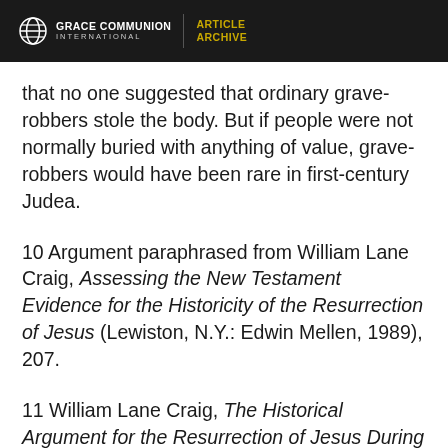GRACE COMMUNION INTERNATIONAL | ARTICLE ARCHIVE
that no one suggested that ordinary grave-robbers stole the body. But if people were not normally buried with anything of value, grave-robbers would have been rare in first-century Judea.
10 Argument paraphrased from William Lane Craig, Assessing the New Testament Evidence for the Historicity of the Resurrection of Jesus (Lewiston, N.Y.: Edwin Mellen, 1989), 207.
11 William Lane Craig, The Historical Argument for the Resurrection of Jesus During the Deist Controversy (Lewiston, N.Y.: Edwin Mellen,